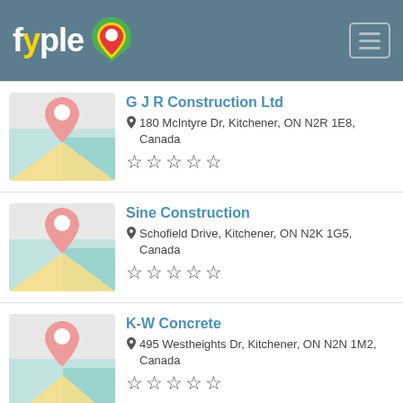fyple
G J R Construction Ltd
180 McIntyre Dr, Kitchener, ON N2R 1E8, Canada
☆☆☆☆☆
Sine Construction
Schofield Drive, Kitchener, ON N2K 1G5, Canada
☆☆☆☆☆
K-W Concrete
495 Westheights Dr, Kitchener, ON N2N 1M2, Canada
☆☆☆☆☆